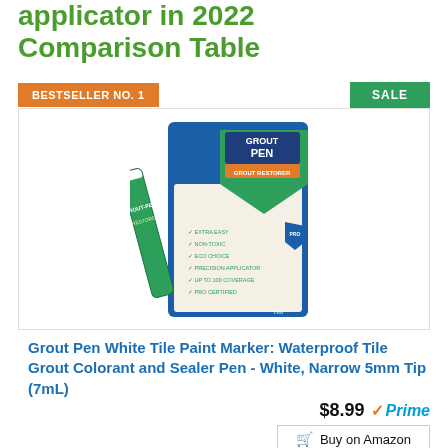applicator in 2022 Comparison Table
BESTSELLER NO. 1
SALE
[Figure (photo): Grout Pen White Tile Paint Marker product photo showing the pen and its packaging]
Grout Pen White Tile Paint Marker: Waterproof Tile Grout Colorant and Sealer Pen - White, Narrow 5mm Tip (7mL)
$8.99 Prime
Buy on Amazon